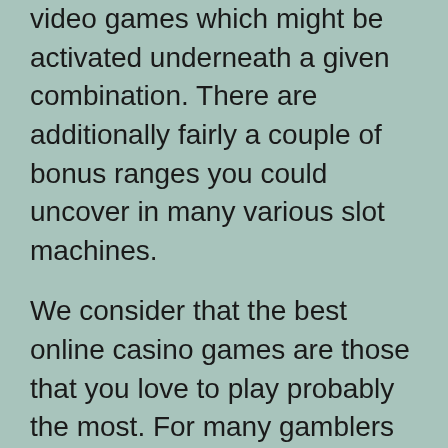video games which might be activated underneath a given combination. There are additionally fairly a couple of bonus ranges you could uncover in many various slot machines.
We consider that the best online casino games are those that you love to play probably the most. For many gamblers this consists of slots, which are by far the most well-liked casino game, roulette, which is probably the most performed table game, and card video games corresponding to blackjacks and its variants. Games obtainable in most casinos are generally called on line casino video games.